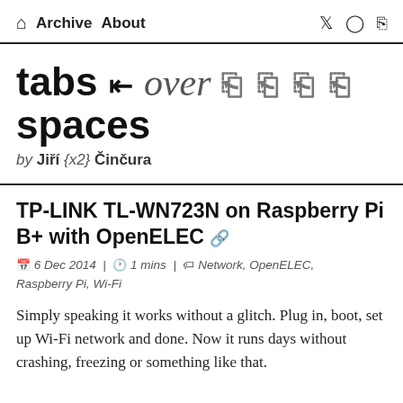🏠 Archive About | Twitter GitHub RSS
tabs ↵ over □□□□ spaces
by Jiří {x2} Činčura
TP-LINK TL-WN723N on Raspberry Pi B+ with OpenELEC 🔗
📅 6 Dec 2014 | 🕐 1 mins | 🏷 Network, OpenELEC, Raspberry Pi, Wi-Fi
Simply speaking it works without a glitch. Plug in, boot, set up Wi-Fi network and done. Now it runs days without crashing, freezing or something like that.